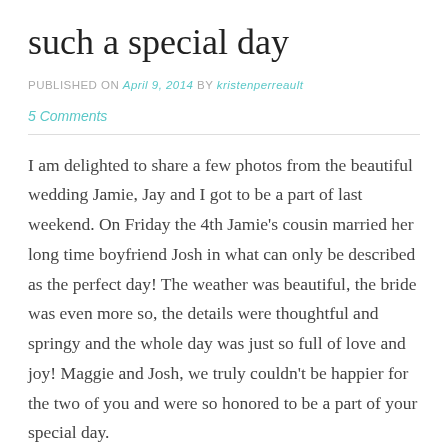such a special day
PUBLISHED ON April 9, 2014 by kristenperreault
5 Comments
I am delighted to share a few photos from the beautiful wedding Jamie, Jay and I got to be a part of last weekend. On Friday the 4th Jamie's cousin married her long time boyfriend Josh in what can only be described as the perfect day! The weather was beautiful, the bride was even more so, the details were thoughtful and springy and the whole day was just so full of love and joy! Maggie and Josh, we truly couldn't be happier for the two of you and were so honored to be a part of your special day.
While there were SO many things and moments that I would have loved the opportunity to photograph at this wedding, I